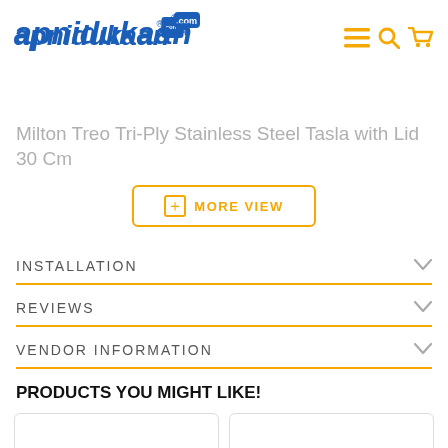apnidukaan.com
Milton Treo Tri-Ply Stainless Steel Tasla with Lid 30 Cm
MORE VIEW
INSTALLATION
REVIEWS
VENDOR INFORMATION
PRODUCTS YOU MIGHT LIKE!
[Figure (other): Two product card placeholders with yellow cart buttons]